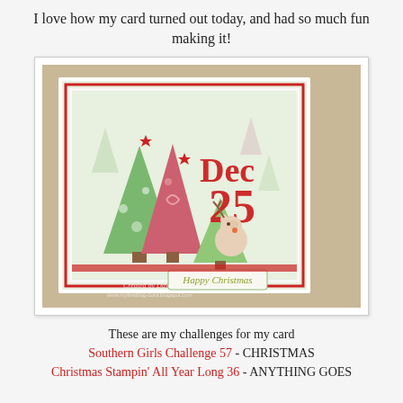I love how my card turned out today, and had so much fun making it!
[Figure (photo): A handmade Christmas card displayed on a card stand. The card features three Christmas tree shapes in green and pink/red patterned paper, a large 'Dec 25' die-cut in red, a cute reindeer illustration, and a 'Happy Christmas' sentiment banner at the bottom. The card has a red border and Christmas tree patterned background paper. Watermark reads 'Created by Dawn, www.myfirstblog-dora.blogspot.com'.]
These are my challenges for my card
Southern Girls Challenge 57 - CHRISTMAS
Christmas Stampin' All Year Long 36 - ANYTHING GOES